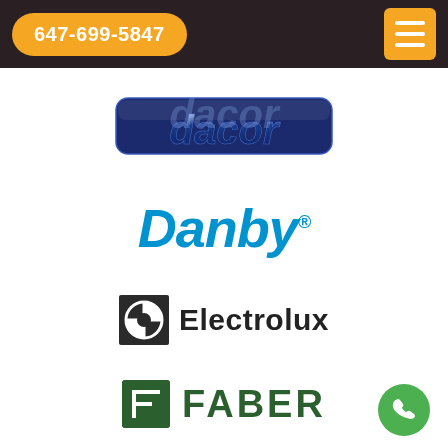647-699-5847
[Figure (logo): Dacor brand logo in dark blue with chrome/metallic italic lettering]
[Figure (logo): Danby brand logo in bold blue italic text]
[Figure (logo): Electrolux brand logo with circular symbol and dark text]
[Figure (logo): Faber brand logo in dark green with square icon containing F]